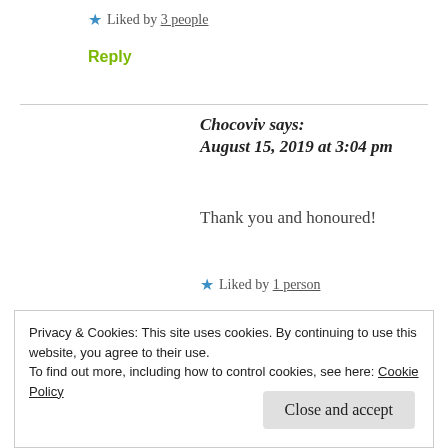★ Liked by 3 people
Reply
Chocoviv says: August 15, 2019 at 3:04 pm
Thank you and honoured!
★ Liked by 1 person
Privacy & Cookies: This site uses cookies. By continuing to use this website, you agree to their use. To find out more, including how to control cookies, see here: Cookie Policy
Close and accept
August 15, 2019 at 3:00 pm